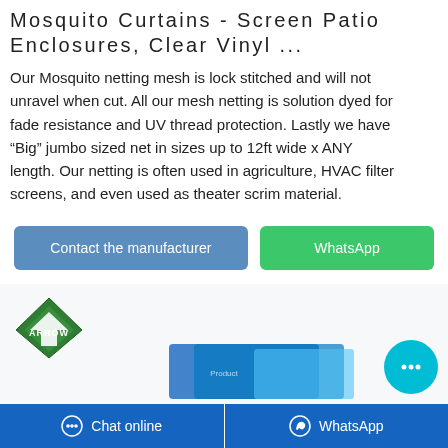Mosquito Curtains - Screen Patio Enclosures, Clear Vinyl ...
Our Mosquito netting mesh is lock stitched and will not unravel when cut. All our mesh netting is solution dyed for fade resistance and UV thread protection. Lastly we have “Big” jumbo sized net in sizes up to 12ft wide x ANY length. Our netting is often used in agriculture, HVAC filter screens, and even used as theater scrim material.
[Figure (screenshot): Two call-to-action buttons: 'Contact the manufacturer' (blue) and 'WhatsApp' (green)]
[Figure (logo): Arrow logo (green diamond with arrow design and text ARROW)]
[Figure (photo): Product packaging partially visible at bottom]
[Figure (infographic): Cyan circular chat bubble button with ellipsis icon]
Chat online   WhatsApp